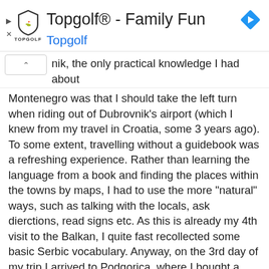[Figure (screenshot): Topgolf advertisement banner with shield logo, title 'Topgolf® - Family Fun', blue subtitle 'Topgolf', and blue diamond navigation arrow icon on the right.]
nik, the only practical knowledge I had about Montenegro was that I should take the left turn when riding out of Dubrovnik's airport (which I knew from my travel in Croatia, some 3 years ago).
To some extent, travelling without a guidebook was a refreshing experience. Rather than learning the language from a book and finding the places within the towns by maps, I had to use the more "natural" ways, such as talking with the locals, ask dierctions, read signs etc. As this is already my 4th visit to the Balkan, I quite fast recollected some basic Serbic vocabulary. Anyway, on the 3rd day of my trip I arrived to Podgorica, where I bought a guidbook, and returned to be the "academic" traveller I'm usually.